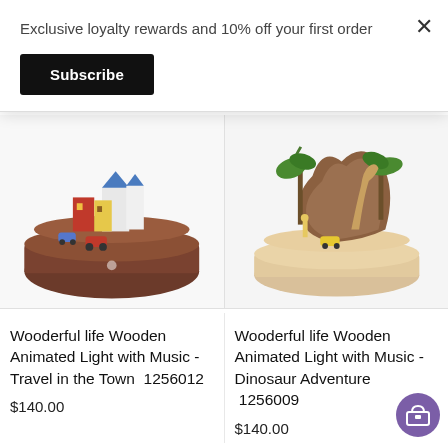Exclusive loyalty rewards and 10% off your first order
Subscribe
[Figure (photo): Wooderful life wooden animated music box with miniature town/city scene on a dark walnut wooden base]
[Figure (photo): Wooderful life wooden animated music box with dinosaur adventure scene on a light wood base]
Wooderful life Wooden Animated Light with Music - Travel in the Town  1256012
$140.00
Wooderful life Wooden Animated Light with Music - Dinosaur Adventure  1256009
$140.00